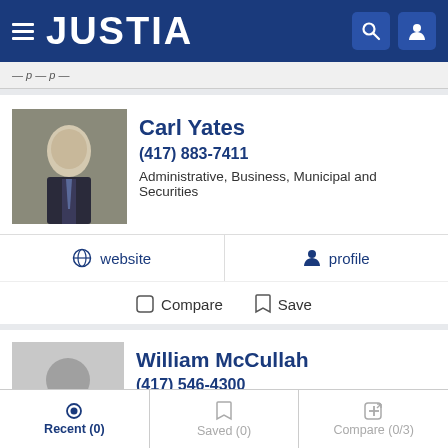JUSTIA
Carl Yates
(417) 883-7411
Administrative, Business, Municipal and Securities
website   profile
Compare   Save
William McCullah
(417) 546-4300
Administrative, Business, Criminal and Estate Planning
profile
Recent (0)   Saved (0)   Compare (0/3)